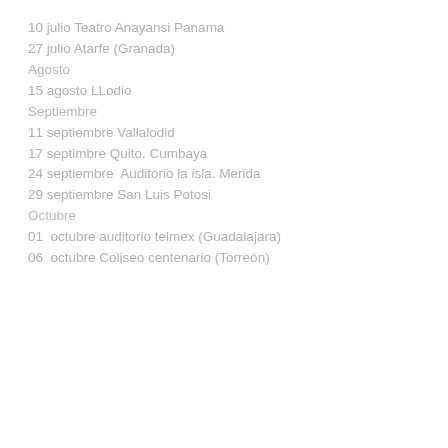10 julio Teatro Anayansi Panama
27 julio Atarfe (Granada)
Agosto
15 agosto LLodio
Septiembre
11 septiembre Vallalodid
17 septimbre Quito. Cumbaya
24 septiembre  Auditorio la isla. Merida
29 septiembre San Luis Potosi
Octubre
01  octubre auditorio telmex (Guadalajara)
06  octubre Coliseo centenario (Torreón)